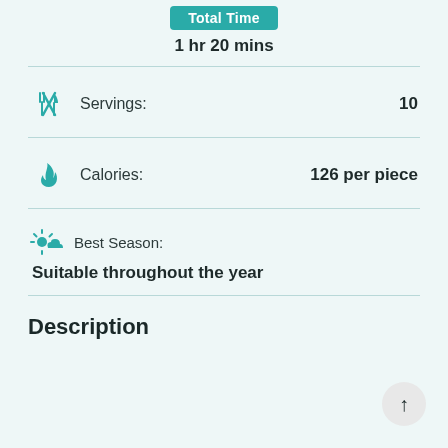Total Time
1 hr 20 mins
Servings: 10
Calories: 126 per piece
Best Season: Suitable throughout the year
Description